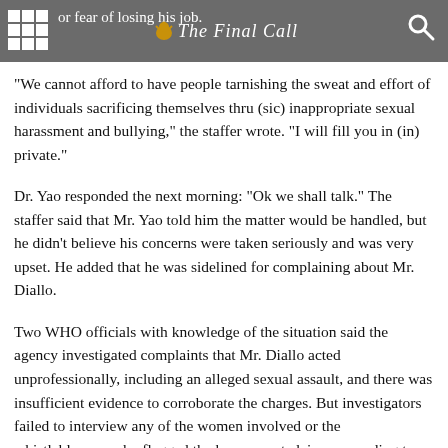or fear of losing his job. The Final Call
“We cannot afford to have people tarnishing the sweat and effort of individuals sacrificing themselves thru (sic) inappropriate sexual harassment and bullying,” the staffer wrote. “I will fill you in (in) private.”
Dr. Yao responded the next morning: “Ok we shall talk.” The staffer said that Mr. Yao told him the matter would be handled, but he didn’t believe his concerns were taken seriously and was very upset. He added that he was sidelined for complaining about Mr. Diallo.
Two WHO officials with knowledge of the situation said the agency investigated complaints that Mr. Diallo acted unprofessionally, including an alleged sexual assault, and there was insufficient evidence to corroborate the charges. But investigators failed to interview any of the women involved or the whistleblowers who flagged the harassment claims, according to a senior WHO official who didn’t want to be identified for fear of losing his job. Mr. Diallo